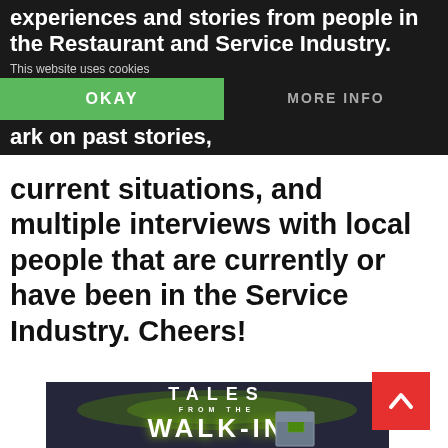experiences and stories from people in the Restaurant and Service Industry.
This website uses cookies
ark on past stories,
OKAY
MORE INFO
current situations, and multiple interviews with local people that are currently or have been in the Service Industry. Cheers!
[Figure (illustration): Illustration showing the logo and artwork for 'Tales From The Walk-In' podcast/show. Features bold stylized text 'TALES FROM THE WALK-IN' with a glowing green effect, and a cartoon character peeking through a walk-in refrigerator door with a green-lit window on a dark background.]